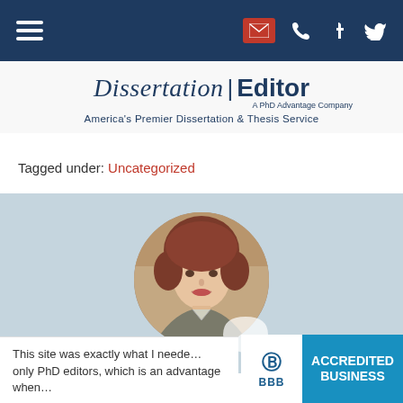Navigation bar with hamburger menu and social icons
[Figure (logo): Dissertation Editor logo - A PhD Advantage Company, America's Premier Dissertation & Thesis Service]
Tagged under: Uncategorized
[Figure (photo): Circular portrait photo of an older woman with short reddish-brown hair, wearing a grey blazer, against a light background]
[Figure (logo): BBB Accredited Business badge with blue background]
This site was exactly what I neede... only PhD editors, which is an advantage when...